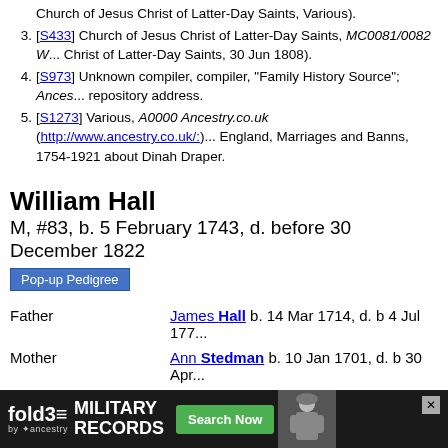Church of Jesus Christ of Latter-Day Saints, Various).
[S433] Church of Jesus Christ of Latter-Day Saints, MC0081/0082 W... Christ of Latter-Day Saints, 30 Jun 1808).
[S973] Unknown compiler, compiler, "Family History Source"; Ances... repository address.
[S1273] Various, A0000 Ancestry.co.uk (http://www.ancestry.co.uk/: ... England, Marriages and Banns, 1754-1921 about Dinah Draper.
William Hall
M, #83, b. 5 February 1743, d. before 30 December 1822
Pop-up Pedigree
| Relation | Person | Details |
| --- | --- | --- |
| Father | James Hall | b. 14 Mar 1714, d. b 4 Jul 177... |
| Mother | Ann Stedman | b. 10 Jan 1701, d. b 30 Apr... |
| Last Edited |  | 10 Apr 2017 |
[Figure (photo): Photo of a church tower with sky background]
William Hall was born on 21 Janu... England. He was christened on 5 Fe... Woking, Surrey, England. He was... Ann Stedman. William Hall married A... England.
[Figure (infographic): Fold3 Military Records advertisement banner with Search Now button]